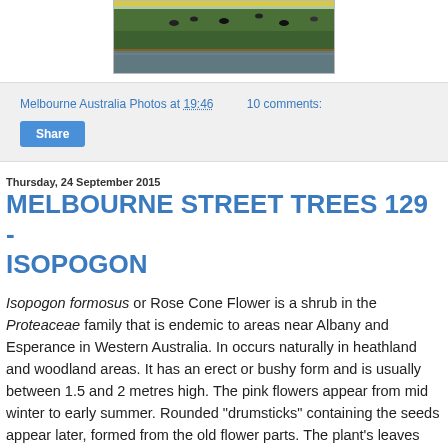[Figure (photo): Partial top photo showing green field/paddock with water reflection and fence, cattle visible in background]
Melbourne Australia Photos at 19:46    10 comments:
Share
Thursday, 24 September 2015
MELBOURNE STREET TREES 129 - ISOPOGON
Isopogon formosus or Rose Cone Flower is a shrub in the Proteaceae family that is endemic to areas near Albany and Esperance in Western Australia. In occurs naturally in heathland and woodland areas. It has an erect or bushy form and is usually between 1.5 and 2 metres high. The pink flowers appear from mid winter to early summer. Rounded "drumsticks" containing the seeds appear later, formed from the old flower parts. The plant's leaves are divided, narrow